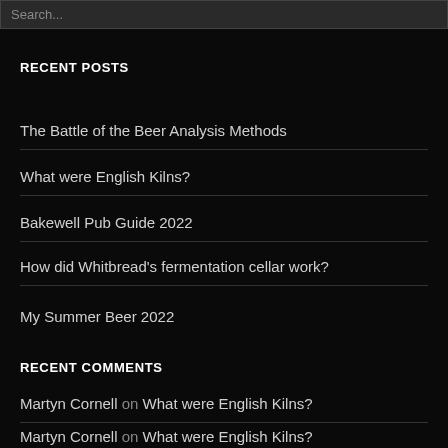Search...
RECENT POSTS
The Battle of the Beer Analysis Methods
What were English Kilns?
Bakewell Pub Guide 2022
How did Whitbread's fermentation cellar work?
My Summer Beer 2022
RECENT COMMENTS
Martyn Cornell on What were English Kilns?
Martyn Cornell on What were English Kilns?